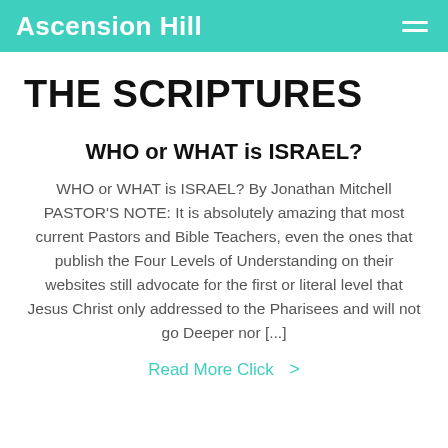Ascension Hill
THE SCRIPTURES
WHO or WHAT is ISRAEL?
WHO or WHAT is ISRAEL? By Jonathan Mitchell PASTOR’S NOTE:  It is absolutely amazing that most current Pastors and Bible Teachers, even the ones that publish the Four Levels of Understanding on their websites still advocate for the first or literal level that Jesus Christ only addressed to the Pharisees and will not go Deeper nor [...]
Read More Click >